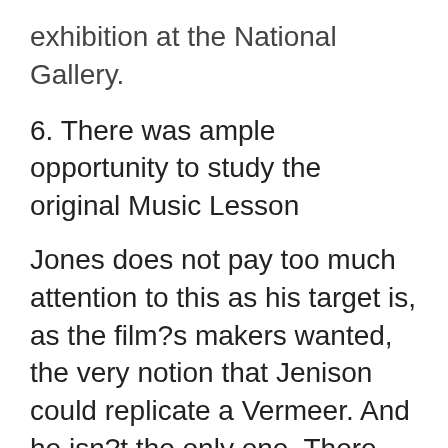exhibition at the National Gallery.
6. There was ample opportunity to study the original Music Lesson
Jones does not pay too much attention to this as his target is, as the film?s makers wanted, the very notion that Jenison could replicate a Vermeer. And he isn?t the only one. There are several critiques and they actually raise good points. The best is this one. However, these basically suggest that Vermeer didn?t use something like Jenison?s technique and Jenison couldn?t have replicated what the master had done. They don?t suggest Jenison didn?t do something. Indeed, Jones noted:
Was the instrument hypothesised by Jenison the